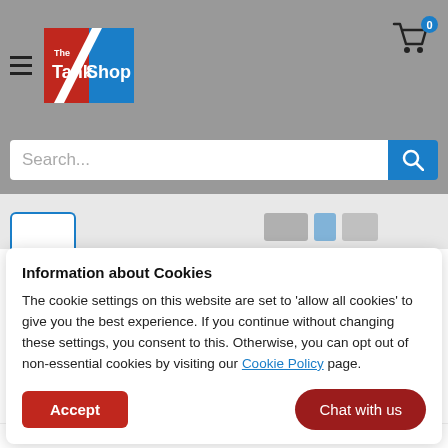[Figure (screenshot): The Tank Shop website header with hamburger menu, logo, cart icon with badge 0, search bar, and product image tab strip]
Information about Cookies
The cookie settings on this website are set to 'allow all cookies' to give you the best experience. If you continue without changing these settings, you consent to this. Otherwise, you can opt out of non-essential cookies by visiting our Cookie Policy page.
Accept
Chat with us
TSGRP | SKU: TS 45 INS